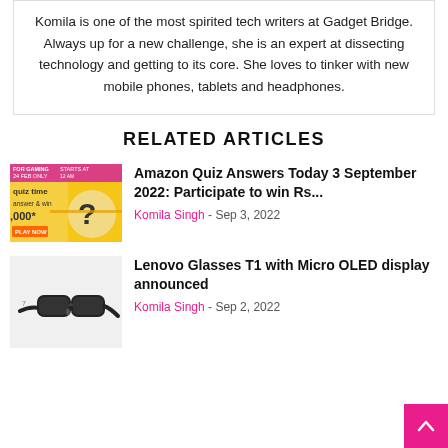Komila is one of the most spirited tech writers at Gadget Bridge. Always up for a new challenge, she is an expert at dissecting technology and getting to its core. She loves to tinker with new mobile phones, tablets and headphones.
RELATED ARTICLES
[Figure (photo): Amazon Quiz Time promotional thumbnail with yellow background, question mark, and banner]
Amazon Quiz Answers Today 3 September 2022: Participate to win Rs...
Komila Singh - Sep 3, 2022
[Figure (photo): Lenovo Glasses T1 with Micro OLED display – black smart glasses on white background]
Lenovo Glasses T1 with Micro OLED display announced
Komila Singh - Sep 2, 2022